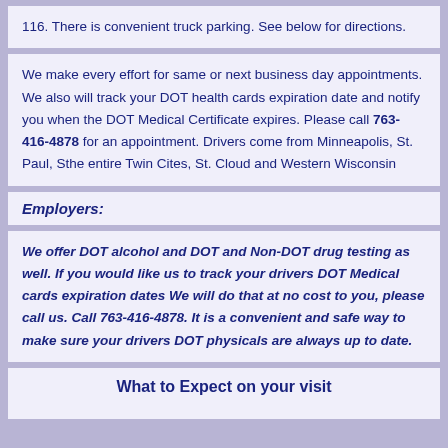116.  There is convenient truck parking.   See below for directions.
We make every effort for same or next business day appointments. We also will track your DOT health cards expiration date and notify you when the DOT Medical Certificate expires.    Please call 763-416-4878 for an appointment.  Drivers come from Minneapolis, St. Paul, Sthe entire Twin Cites, St. Cloud and Western Wisconsin
Employers:
We offer DOT alcohol and DOT and Non-DOT drug testing as well. If you would like us to track your drivers DOT Medical cards expiration dates We will do that at no cost to you, please call us.   Call 763-416-4878. It is a convenient and safe way to make sure your drivers DOT physicals are always up to date.
What to Expect on your visit